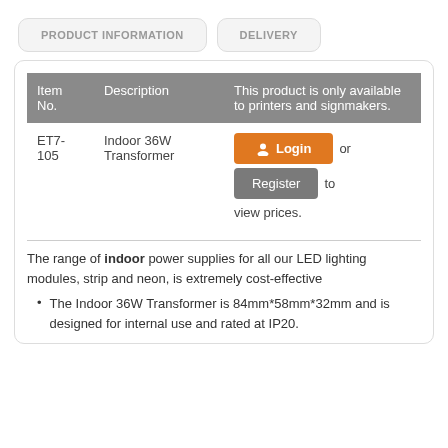PRODUCT INFORMATION
DELIVERY
| Item No. | Description | This product is only available to printers and signmakers. |
| --- | --- | --- |
| ET7-105 | Indoor 36W Transformer | Login or Register to view prices. |
The range of indoor power supplies for all our LED lighting modules, strip and neon, is extremely cost-effective
The Indoor 36W Transformer is 84mm*58mm*32mm and is designed for internal use and rated at IP20.